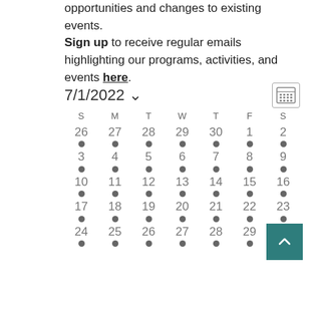opportunities and changes to existing events. Sign up to receive regular emails highlighting our programs, activities, and events here.
[Figure (other): Calendar widget showing July 2022 with date selector dropdown and grid view icon. Dates 26-29 July shown with dots indicating events. Teal scroll-to-top button at bottom right.]